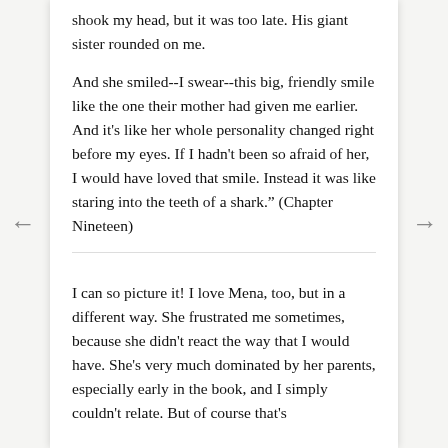shook my head, but it was too late. His giant sister rounded on me.
And she smiled--I swear--this big, friendly smile like the one their mother had given me earlier. And it's like her whole personality changed right before my eyes. If I hadn't been so afraid of her, I would have loved that smile. Instead it was like staring into the teeth of a shark." (Chapter Nineteen)
I can so picture it! I love Mena, too, but in a different way. She frustrated me sometimes, because she didn't react the way that I would have. She's very much dominated by her parents, especially early in the book, and I simply couldn't relate. But of course that's